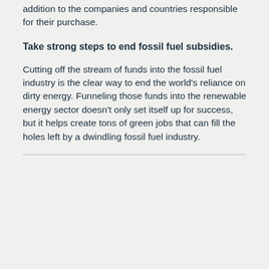addition to the companies and countries responsible for their purchase.
Take strong steps to end fossil fuel subsidies.
Cutting off the stream of funds into the fossil fuel industry is the clear way to end the world's reliance on dirty energy. Funneling those funds into the renewable energy sector doesn't only set itself up for success, but it helps create tons of green jobs that can fill the holes left by a dwindling fossil fuel industry.